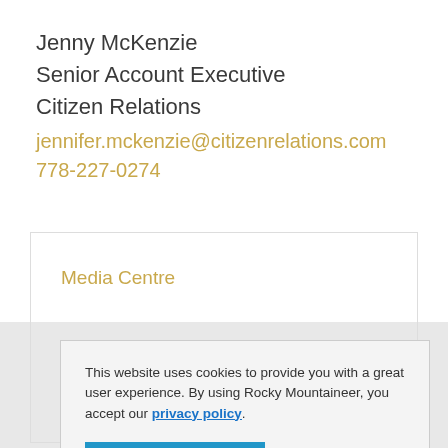Jenny McKenzie
Senior Account Executive
Citizen Relations
jennifer.mckenzie@citizenrelations.com
778-227-0274
Media Centre
This website uses cookies to provide you with a great user experience. By using Rocky Mountaineer, you accept our privacy policy.
OKAY